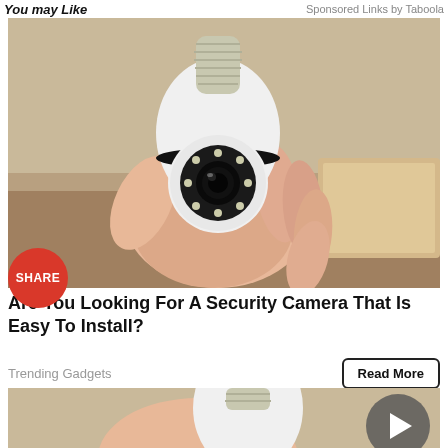You may Like  Sponsored Links by Taboola
[Figure (photo): A hand holding a white bulb-shaped security camera with a rotating head and LED ring, screw base visible at top, shelf and cardboard box in background]
SHARE
Are You Looking For A Security Camera That Is Easy To Install?
Trending Gadgets
Read More
[Figure (photo): Similar bulb-shaped security camera held in hand, partial view at bottom of page, navigation arrow overlay visible]